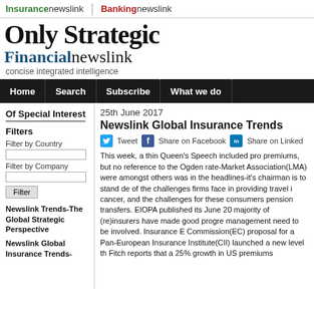Insurancenewslink | Bankingnewslink
Only Strategic
Financialnewslink
concise integrated intelligence
Home  Search  Subscribe  What we do
Of Special Interest
Filters
Filter by Country
Filter by Company
Filter
Newslink Trends-The Global Strategic Perspective
Newslink Global Insurance Trends-
25th June 2017
Newslink Global Insurance Trends
Tweet  Share on Facebook  Share on LinkedIn
This week, a thin Queen's Speech included pro premiums, but no reference to the Ogden rate-Market Association(LMA) were amongst others was in the headlines-it's chairman is to stand d of the challenges firms face in providing travel i cancer, and the challenges for these consumer pension transfers. EIOPA published its June 20 majority of (re)insurers have made good progre management need to be involved. Insurance E Commission(EC) proposal for a Pan-European Insurance Institute(CII) launched a new level th Fitch reports that a 25% growth in US premiums